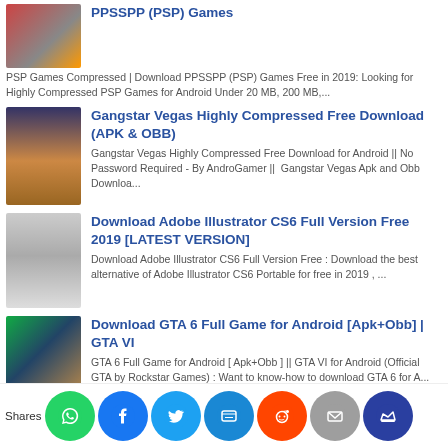PPSSPP (PSP) Games — PSP Games Compressed | Download PPSSPP (PSP) Games Free in 2019: Looking for Highly Compressed PSP Games for Android Under 20 MB, 200 MB,...
Gangstar Vegas Highly Compressed Free Download (APK & OBB) — Gangstar Vegas Highly Compressed Free Download for Android || No Password Required - By AndroGamer || Gangstar Vegas Apk and Obb Downloa...
Download Adobe Illustrator CS6 Full Version Free 2019 [LATEST VERSION] — Download Adobe Illustrator CS6 Full Version Free : Download the best alternative of Adobe Illustrator CS6 Portable for free in 2019 , ...
Download GTA 6 Full Game for Android [Apk+Obb] | GTA VI — GTA 6 Full Game for Android [ Apk+Obb ] || GTA VI for Android (Official GTA by Rockstar Games) : Want to know-how to download GTA 6 for A...
[Figure (screenshot): Social sharing bar with icons: WhatsApp (green), Facebook (blue), Twitter (light blue), SMS (blue), Reddit (orange), Email (gray), Crown (dark blue). Label 'Shares' on the left.]